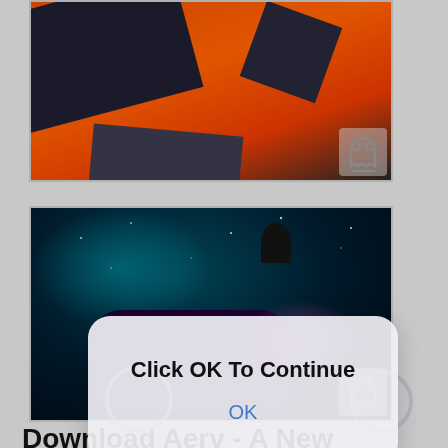[Figure (screenshot): Top image: orange-toned game scene with dark geometric shapes and a small ghost/broken image icon in the bottom-right corner]
[Figure (screenshot): Bottom image: dark space/sci-fi game scene with teal lighting, a spaceship or mech figure, pink glow, and a small ghost/broken image icon in the bottom-right. A semi-transparent dialog box overlays the center reading 'Click OK To Continue' with an OK button.]
Click OK To Continue
OK
Download Aerv - A New